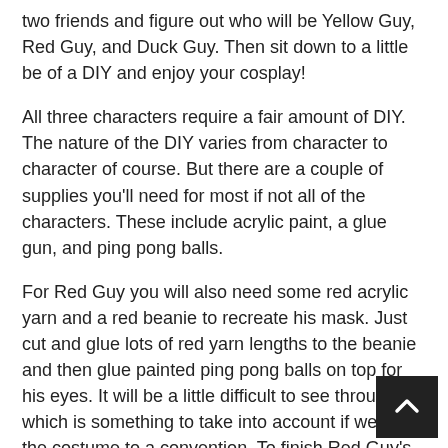two friends and figure out who will be Yellow Guy, Red Guy, and Duck Guy. Then sit down to a little be of a DIY and enjoy your cosplay!
All three characters require a fair amount of DIY. The nature of the DIY varies from character to character of course. But there are a couple of supplies you'll need for most if not all of the characters. These include acrylic paint, a glue gun, and ping pong balls.
For Red Guy you will also need some red acrylic yarn and a red beanie to recreate his mask. Just cut and glue lots of red yarn lengths to the beanie and then glue painted ping pong balls on top for his eyes. It will be a little difficult to see through, which is something to take into account if wearing the costume to a convention. To finish Red Guy's look put on a red jumpsuit and black boots. You're all set!
Yellow Guy's version of DIY is a little different. It's hard to overalls in that color blue. So your best bet is to buy white overalls and then dye with Rit dye. Once they're dry you'll put them on over a yellow body suit and finish the look with white